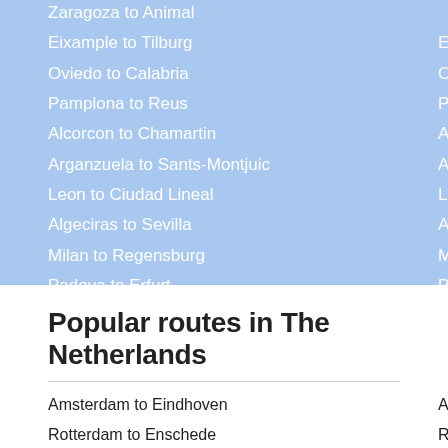Eixample to Tilburg
Oviedo to Calabria
Pamplona to Reus
Alcorcon to Chamartin
Arganzuela to Sants-Montjuic
Leon to Ciudad Lineal
Algeciras to Sevilla
Milan to Regensburg
Padova to Erfurt
Foggia to Marienthal
Popular routes in The Netherlands
Amsterdam to Eindhoven
Rotterdam to Enschede
The Hague to S-Hertogenbosch